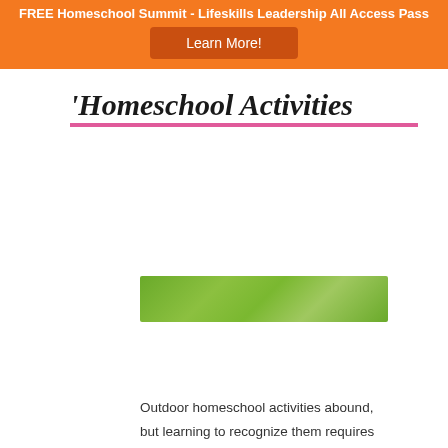FREE Homeschool Summit - Lifeskills Leadership All Access Pass
Homeschool Activities
[Figure (photo): Green outdoor nature background image below the Homeschool Activities title]
Outdoor homeschool activities abound, but learning to recognize them requires homeschool moms to think outside of the typical school box. We have to leave behind the belief that learning only happens in a classroom and with a textbook. The truth is that the best and most influential learning happens outside of the classroom and without a textbook! Kids learn best when they experience things themselves and that doesn't happen inside with a textbook.